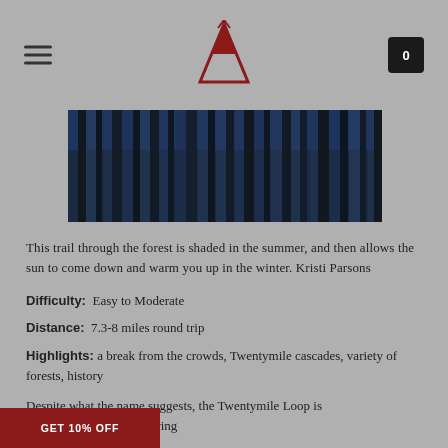Navigation header with hamburger menu, logo, and cart icon
[Figure (photo): Forest trail photo showing tall dark tree trunks with light filtering through, shaded forest scene]
This trail through the forest is shaded in the summer, and then allows the sun to come down and warm you up in the winter. Kristi Parsons
Difficulty: Easy to Moderate
Distance: 7.3-8 miles round trip
Highlights: a break from the crowds, Twentymile cascades, variety of forests, history
Despite what the name suggests, the Twentymile Loop is [...]ht miles round trip. Covering